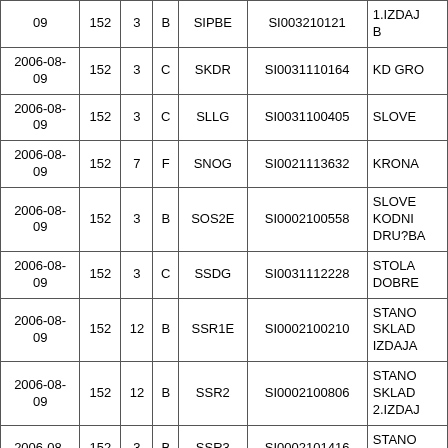| Date | 152 | col3 | col4 | Ticker | ISIN | Name |
| --- | --- | --- | --- | --- | --- | --- |
| 09 | 152 | 3 | B | SIPBE | SI003210121 | 1.IZDAJ B |
| 2006-08-09 | 152 | 3 | C | SKDR | SI0031110164 | KD GRO |
| 2006-08-09 | 152 | 3 | C | SLLG | SI0031100405 | SLOVE |
| 2006-08-09 | 152 | 7 | F | SNOG | SI0021113632 | KRONA |
| 2006-08-09 | 152 | 3 | B | SOS2E | SI0002100558 | SLOVE KODNI DRU?BA |
| 2006-08-09 | 152 | 3 | C | SSDG | SI0031112228 | STOLA DOBRE |
| 2006-08-09 | 152 | 12 | B | SSR1E | SI0002100210 | STANO SKLAD IZDAJA |
| 2006-08-09 | 152 | 12 | B | SSR2 | SI0002100806 | STANO SKLAD 2.IZDAJ |
| 2006-08- | 152 | 3 | B | SSR3 | SI0002101416 | STANO SKLAD |